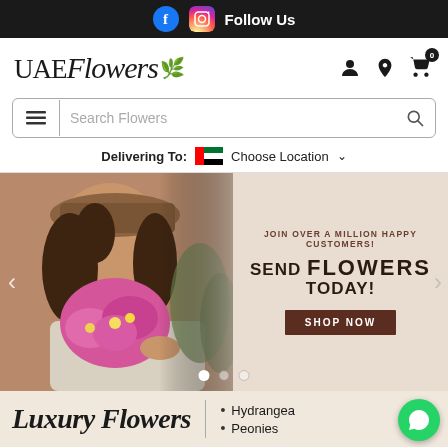Follow Us
[Figure (screenshot): UAE Flowers website logo with stylized text and leaf icon]
[Figure (screenshot): Search bar with hamburger menu and search icon, placeholder text: Search Flowers]
Delivering To: Choose Location
[Figure (photo): Hero banner with woman holding pink flowers, text: JOIN OVER A MILLION HAPPY CUSTOMERS! SEND FLOWERS TODAY! SHOP NOW button]
Luxury Flowers
Hydrangea
Peonies